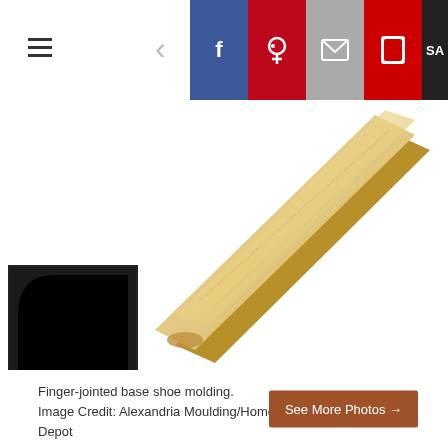Navigation header with hamburger menu, back arrow, and social sharing icons (Facebook, Pinterest, Mail, Flipboard)
[Figure (photo): A finger-jointed base shoe molding piece shown diagonally against white background, with a small black cross-section profile inset on the lower left showing the quarter-round shape of the molding.]
Finger-jointed base shoe molding. Image Credit: Alexandria Moulding/Home Depot
See More Photos →